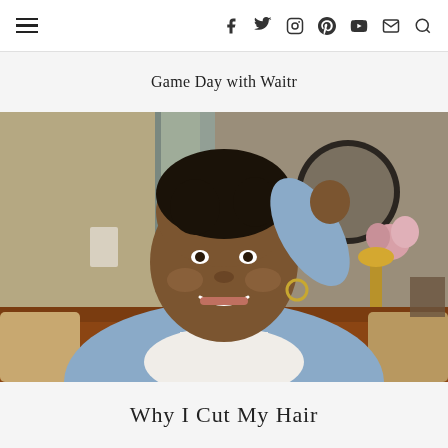Game Day with Waitr | Why I Cut My Hair
Game Day with Waitr
[Figure (photo): A smiling Black woman with short natural hair wearing a light blue knit sweater and white scarf, sitting on a brown couch in a living room setting. She has one hand raised to her hair. A round dark mirror and pink flowers are visible in the background.]
Why I Cut My Hair